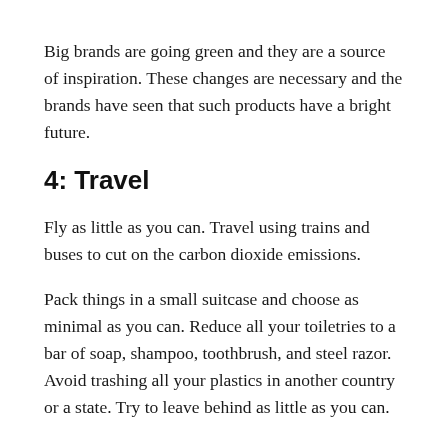Big brands are going green and they are a source of inspiration. These changes are necessary and the brands have seen that such products have a bright future.
4: Travel
Fly as little as you can. Travel using trains and buses to cut on the carbon dioxide emissions.
Pack things in a small suitcase and choose as minimal as you can. Reduce all your toiletries to a bar of soap, shampoo, toothbrush, and steel razor. Avoid trashing all your plastics in another country or a state. Try to leave behind as little as you can.